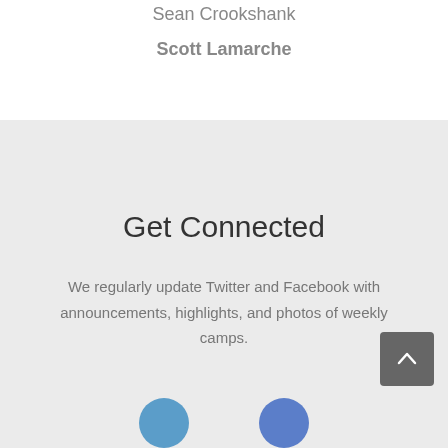Sean Crookshank
Scott Lamarche
Get Connected
We regularly update Twitter and Facebook with announcements, highlights, and photos of weekly camps.
[Figure (illustration): Scroll-to-top button with upward chevron arrow on dark grey square background]
[Figure (illustration): Two circular social media icons at the bottom — a blue Twitter icon and a blue Facebook icon]